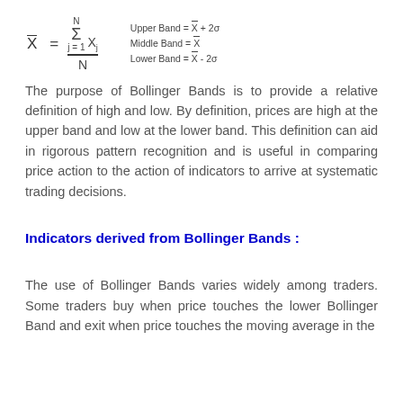Upper Band = X̄ + 2σ
Middle Band = X̄
Lower Band = X̄ - 2σ
The purpose of Bollinger Bands is to provide a relative definition of high and low. By definition, prices are high at the upper band and low at the lower band. This definition can aid in rigorous pattern recognition and is useful in comparing price action to the action of indicators to arrive at systematic trading decisions.
Indicators derived from Bollinger Bands :
The use of Bollinger Bands varies widely among traders. Some traders buy when price touches the lower Bollinger Band and exit when price touches the moving average in the